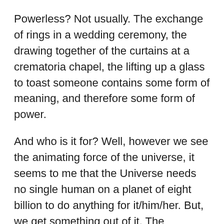Powerless? Not usually. The exchange of rings in a wedding ceremony, the drawing together of the curtains at a crematoria chapel, the lifting up a glass to toast someone contains some form of meaning, and therefore some form of power.
And who is it for? Well, however we see the animating force of the universe, it seems to me that the Universe needs no single human on a planet of eight billion to do anything for it/him/her. But, we get something out of it. The Universe doesn’t need it, but I do believe the Universe may encourage us as it sees us using positive words and actions for the benefit of all sentient beings, and for creation itself.
It’s as if the Universe is a master painter, a classical